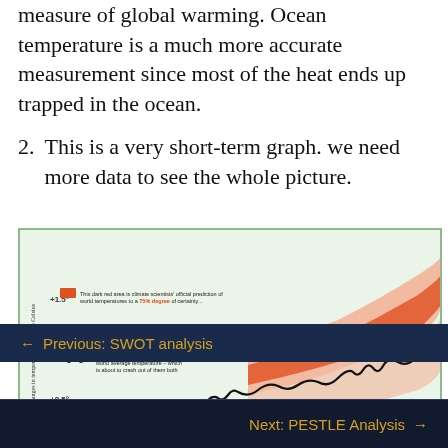measure of global warming. Ocean temperature is a much more accurate measurement since most of the heat ends up trapped in the ocean.
2. This is a very short-term graph. we need more data to see the whole picture.
[Figure (infographic): Infographic titled 'The graph that reveals how 95 per cent certain estimates of the earth heating up were a spectacular miscalculation'. Shows a climate temperature chart with dark red area (75% certainty prediction), light red area (95% certainty prediction), and a heavy black line showing actual world average temperature. Y-axis shows changes in temperature in degrees Celsius, with labels +1.5°, +1°, +0.5°. The actual temperature line is shown crashing out of both prediction bands.]
← Previous: SWOT analysis
Next: PESTLE Analysis →